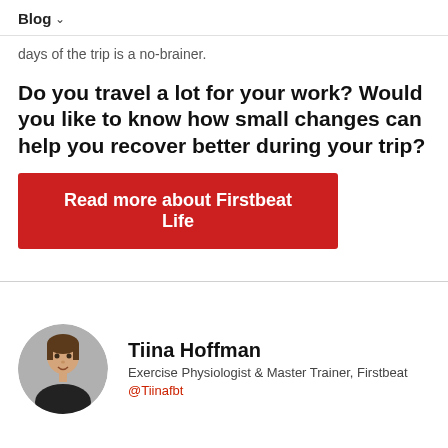Blog ∨
days of the trip is a no-brainer.
Do you travel a lot for your work? Would you like to know how small changes can help you recover better during your trip?
Read more about Firstbeat Life
Tiina Hoffman
Exercise Physiologist & Master Trainer, Firstbeat
@Tiinafbt